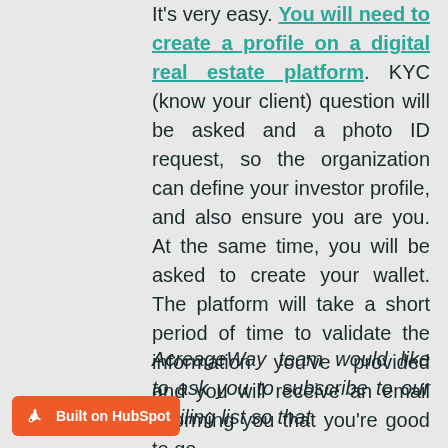It's very easy. You will need to create a profile on a digital real estate platform. KYC (know your client) question will be asked and a photo ID request, so the organization can define your investor profile, and also ensure you are you. At the same time, you will be asked to create your wallet. The platform will take a short period of time to validate the information you've provided and you will receive an email informing you that you're good to go.
AcreageWay team would like to ask you to subscribe to our mailing list so that